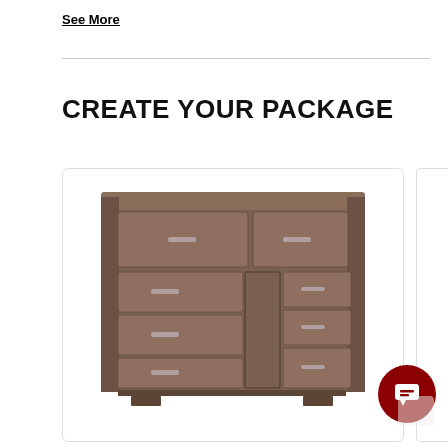See More
CREATE YOUR PACKAGE
[Figure (photo): A brown wooden dresser with multiple drawers and a center cabinet door, shown on a white background inside a product card.]
[Figure (other): Partial view of a second product card on the right edge of the page.]
Chat button icon (dark red circular button with message icon)